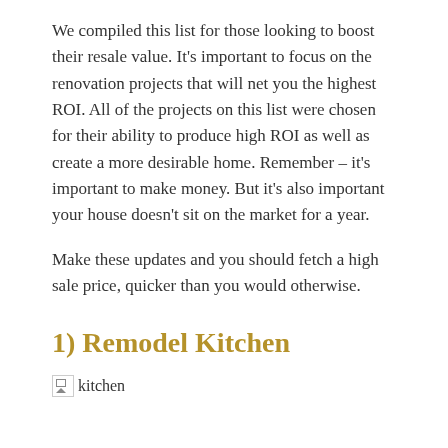We compiled this list for those looking to boost their resale value. It's important to focus on the renovation projects that will net you the highest ROI. All of the projects on this list were chosen for their ability to produce high ROI as well as create a more desirable home. Remember – it's important to make money. But it's also important your house doesn't sit on the market for a year.
Make these updates and you should fetch a high sale price, quicker than you would otherwise.
1) Remodel Kitchen
[Figure (photo): Broken image placeholder labeled 'kitchen']